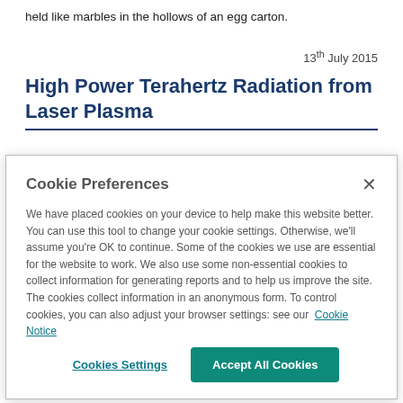held like marbles in the hollows of an egg carton.
13th July 2015
High Power Terahertz Radiation from Laser Plasma
Cookie Preferences
We have placed cookies on your device to help make this website better. You can use this tool to change your cookie settings. Otherwise, we'll assume you're OK to continue. Some of the cookies we use are essential for the website to work. We also use some non-essential cookies to collect information for generating reports and to help us improve the site. The cookies collect information in an anonymous form. To control cookies, you can also adjust your browser settings: see our Cookie Notice
Cookies Settings
Accept All Cookies